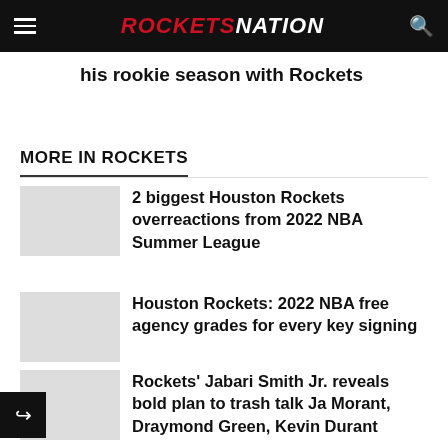ROCKETSNATION
his rookie season with Rockets
MORE IN ROCKETS
2 biggest Houston Rockets overreactions from 2022 NBA Summer League
Houston Rockets: 2022 NBA free agency grades for every key signing
Rockets' Jabari Smith Jr. reveals bold plan to trash talk Ja Morant, Draymond Green, Kevin Durant